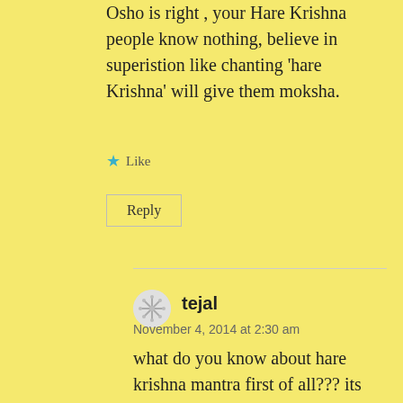Osho is right , your Hare Krishna people know nothing, believe in superistion like chanting ‘hare Krishna’ will give them moksha.
★ Like
Reply
tejal
November 4, 2014 at 2:30 am
what do you know about hare krishna mantra first of all??? its better u ppl keep ur mouth shut or know something before you’re going to speak on a particular topic.